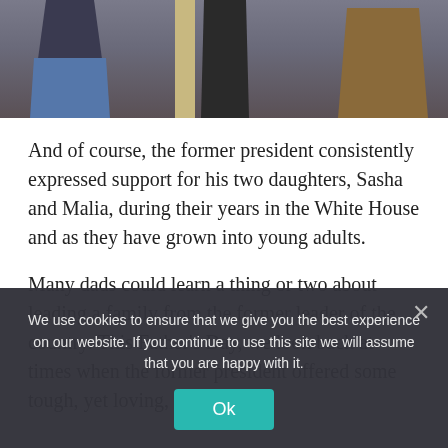[Figure (photo): Cropped photo showing lower halves of three people standing: a person in a denim skirt on the left, a person in dark clothing center, and a person in brown/tan on the right, with a wooden post in the background.]
And of course, the former president consistently expressed support for his two daughters, Sasha and Malia, during their years in the White House and as they have grown into young adults.
Many dads could learn a thing or two about leading a family from the former leader of the country. This Father’s Day, we look back at times when the former president offered some tough, yet loving, advice to
We use cookies to ensure that we give you the best experience on our website. If you continue to use this site we will assume that you are happy with it.